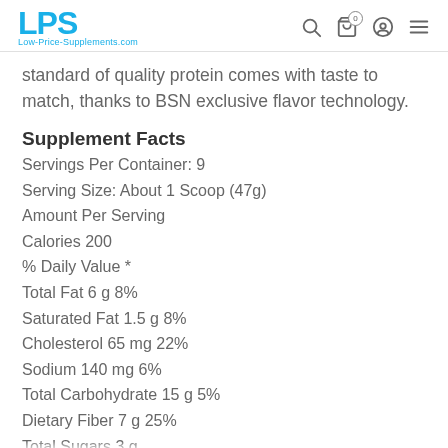LPS Low-Price-Supplements.com
standard of quality protein comes with taste to match, thanks to BSN exclusive flavor technology.
Supplement Facts
Servings Per Container: 9
Serving Size: About 1 Scoop (47g)
Amount Per Serving
Calories 200
% Daily Value *
Total Fat 6 g 8%
Saturated Fat 1.5 g 8%
Cholesterol 65 mg 22%
Sodium 140 mg 6%
Total Carbohydrate 15 g 5%
Dietary Fiber 7 g 25%
Total Sugars 3 g